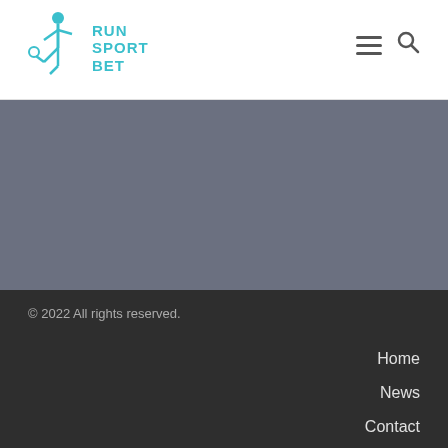[Figure (logo): Run Sport Bet logo with teal footballer kicking a ball and teal text reading RUN SPORT BET]
© 2022 All rights reserved.
Home
News
Contact